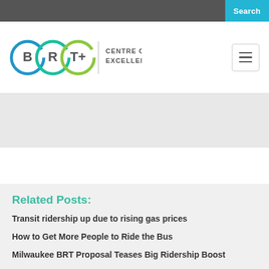Search
[Figure (logo): BRT+ Centre of Excellence logo with three interlocking circles (blue, teal, green) and the letters B, R, T+, alongside text CENTRE OF EXCELLENCE]
Related Posts:
Transit ridership up due to rising gas prices
How to Get More People to Ride the Bus
Milwaukee BRT Proposal Teases Big Ridership Boost